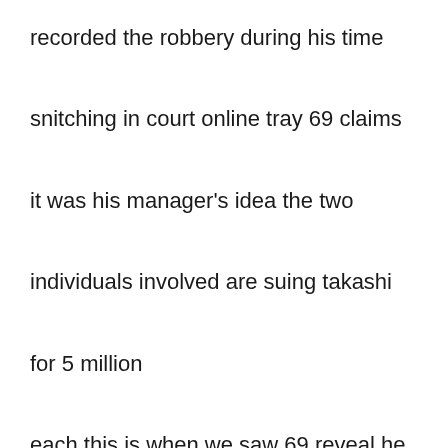recorded the robbery during his time snitching in court online tray 69 claims it was his manager's idea the two individuals involved are suing takashi for 5 million each this is when we saw 69 reveal he has absolutely nothing and is struggling to get by 69 said this in court i did receive large advances under the recording artist and merchandising agreements prior to my arrest however i